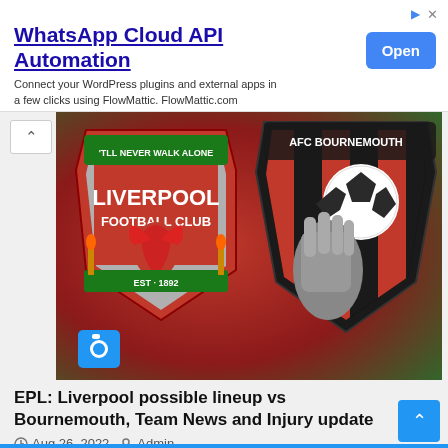[Figure (other): Advertisement banner for WhatsApp Cloud API Automation by FlowMattic with Open button]
[Figure (photo): Liverpool FC crest and AFC Bournemouth crest side by side on a red/green blurred stadium background]
EPL: Liverpool possible lineup vs Bournemouth, Team News and Injury update
Aug 26, 2022   Admin